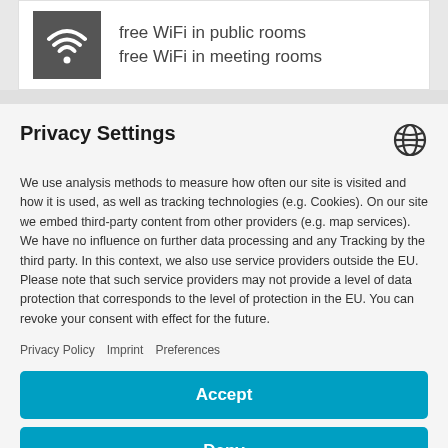free WiFi in public rooms
free WiFi in meeting rooms
Privacy Settings
We use analysis methods to measure how often our site is visited and how it is used, as well as tracking technologies (e.g. Cookies). On our site we embed third-party content from other providers (e.g. map services). We have no influence on further data processing and any Tracking by the third party. In this context, we also use service providers outside the EU. Please note that such service providers may not provide a level of data protection that corresponds to the level of protection in the EU. You can revoke your consent with effect for the future.
Privacy Policy   Imprint   Preferences
Accept
Deny